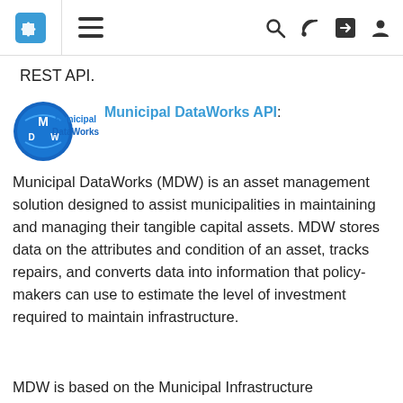Navigation bar with puzzle logo, hamburger menu, search, RSS, share, and user icons
REST API.
[Figure (logo): Municipal DataWorks logo: circular blue icon with MDW initials and 'Municipal DataWorks' text in blue]
Municipal DataWorks API: Municipal DataWorks (MDW) is an asset management solution designed to assist municipalities in maintaining and managing their tangible capital assets. MDW stores data on the attributes and condition of an asset, tracks repairs, and converts data into information that policy-makers can use to estimate the level of investment required to maintain infrastructure.
MDW is based on the Municipal Infrastructure Data Standard (MIDS). Compliant with the MIDS...